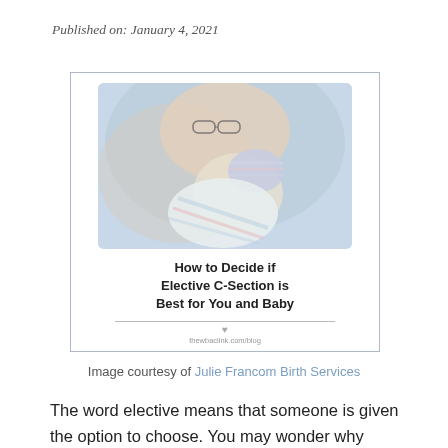Published on: January 4, 2021
[Figure (illustration): Promotional image card showing a mother and newborn baby with the title 'How to Decide if Elective C-Section is Best for You and Baby' and URL thewbaclink.com/blog]
Image courtesy of Julie Francom Birth Services
The word elective means that someone is given the option to choose. You may wonder why anyone would choose to have